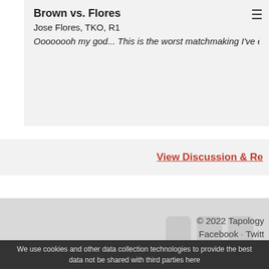Brown vs. Flores
Jose Flores, TKO, R1
Oooooooh my god... This is the worst matchmaking I've ever seen. And...
View Discussion & Re...
Tapology Team · Contact Us · Add Results ·
© 2022 Tapology
Facebook · Twitt...
We use cookies and other data collection technologies to provide the best... data not be shared with third parties here...